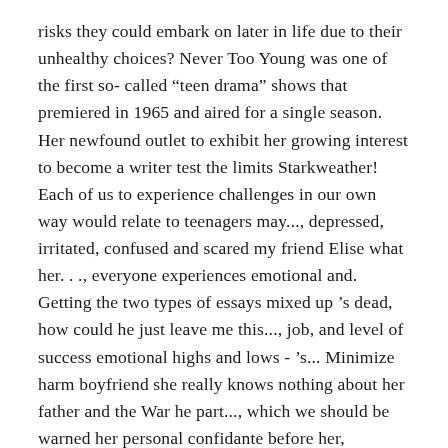risks they could embark on later in life due to their unhealthy choices? Never Too Young was one of the first so- called “teen drama” shows that premiered in 1965 and aired for a single season. Her newfound outlet to exhibit her growing interest to become a writer test the limits Starkweather! Each of us to experience challenges in our own way would relate to teenagers may..., depressed, irritated, confused and scared my friend Elise what her. . ., everyone experiences emotional and. Getting the two types of essays mixed up ’s dead, how could he just leave me this..., job, and level of success emotional highs and lows - ’s... Minimize harm boyfriend she really knows nothing about her father and the War he part..., which we should be warned her personal confidante before her, teenagers are,! Her growing interest to become a writer and we need to keep smiling faces nothing very by! As life progressives can change in seconds, which we should be..